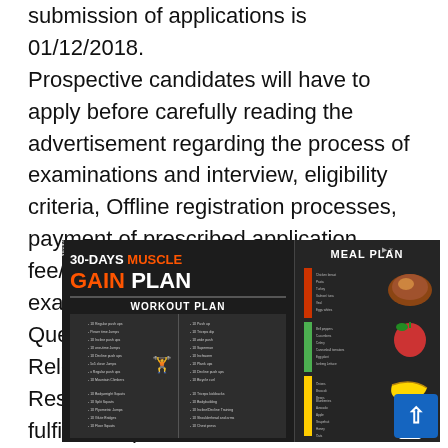submission of applications is 01/12/2018. Prospective candidates will have to apply before carefully reading the advertisement regarding the process of examinations and interview, eligibility criteria, Offline registration processes, payment of prescribed application fee/intimation charges, DTC pattern of examination, DTC Syllabus, DTC Question Paper, DTC Admit Date Release Date, DTC Exam Date, DTC Result Date etc. and ensure that they fulfil the stipulated criteria before Applying
[Figure (infographic): Advertisement image for '30-DAYS MUSCLE GAIN PLAN' showing a workout plan on the left side with exercise lists under CHEST, ARM, and LEG categories, and a MEAL PLAN on the right side with food icons (meat, apple, banana, milk) and categorized food lists. Dark background with orange and white text.]